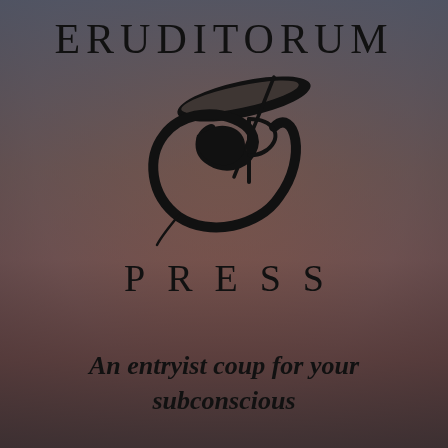ERUDITORUM
[Figure (logo): Eruditorum Press stylized EP monogram logo in black — a flowing cursive 'e' or crescent shape combined with an italic 'P', with a diagonal pen/quill stroke through it]
PRESS
An entryist coup for your subconscious